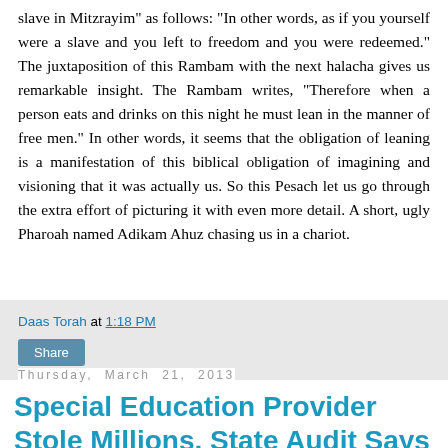slave in Mitzrayim" as follows: "In other words, as if you yourself were a slave and you left to freedom and you were redeemed." The juxtaposition of this Rambam with the next halacha gives us remarkable insight. The Rambam writes, "Therefore when a person eats and drinks on this night he must lean in the manner of free men." In other words, it seems that the obligation of leaning is a manifestation of this biblical obligation of imagining and visioning that it was actually us. So this Pesach let us go through the extra effort of picturing it with even more detail. A short, ugly Pharoah named Adikam Ahuz chasing us in a chariot.
Daas Torah at 1:18 PM
Share
Thursday, March 21, 2013
Special Education Provider Stole Millions, State Audit Says